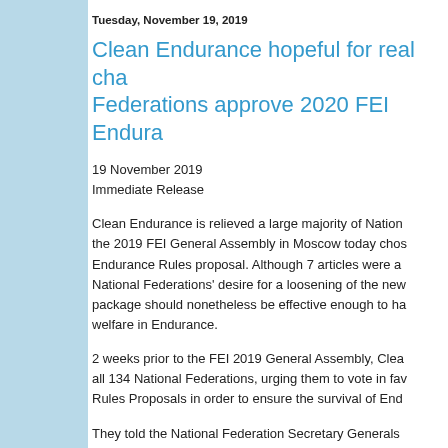Tuesday, November 19, 2019
Clean Endurance hopeful for real cha... Federations approve 2020 FEI Endura...
19 November 2019
Immediate Release
Clean Endurance is relieved a large majority of Nation... the 2019 FEI General Assembly in Moscow today chos... Endurance Rules proposal. Although 7 articles were a... National Federations' desire for a loosening of the new... package should nonetheless be effective enough to ha... welfare in Endurance.
2 weeks prior to the FEI 2019 General Assembly, Clea... all 134 National Federations, urging them to vote in fav... Rules Proposals in order to ensure the survival of End...
They told the National Federation Secretary Generals... resort to try and convey to them the absolute emergen...